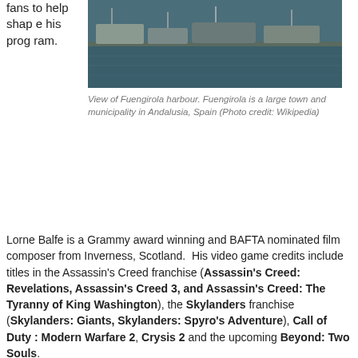fans to help shape his program.
[Figure (photo): View of Fuengirola harbour, showing a marina with boats on dark green-blue water.]
View of Fuengirola harbour. Fuengirola is a large town and municipality in Andalusia, Spain (Photo credit: Wikipedia)
Lorne Balfe is a Grammy award winning and BAFTA nominated film composer from Inverness, Scotland. His video game credits include titles in the Assassin's Creed franchise (Assassin's Creed: Revelations, Assassin's Creed 3, and Assassin's Creed: The Tyranny of King Washington), the Skylanders franchise (Skylanders: Giants, Skylanders: Spyro's Adventure), Call of Duty : Modern Warfare 2, Crysis 2 and the upcoming Beyond: Two Souls.
Balfe invites fans to offer suggestions on what themes to include in his performance by tweeting their suggestions to @LorneBalfe with the #PlayfestLB.
PlayFest is organized by Leitmotiv Music, with the cooperation of the City of Fuengirola and the Málaga Provincial Council, BuySoundtrax Records and PSOSpirit. Playfest will take place in Málaga, Spain from